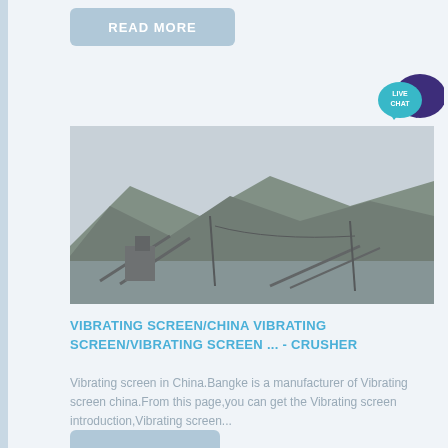[Figure (other): READ MORE button, light blue/gray rounded rectangle]
[Figure (illustration): Live Chat speech bubble icon with teal and dark purple overlapping bubbles and LIVE CHAT text]
[Figure (photo): Industrial quarry/mining site with conveyor belts, structures, mountainous terrain in background, misty atmosphere]
VIBRATING SCREEN/CHINA VIBRATING SCREEN/VIBRATING SCREEN ... - CRUSHER
Vibrating screen in China.Bangke is a manufacturer of Vibrating screen china.From this page,you can get the Vibrating screen introduction,Vibrating screen...